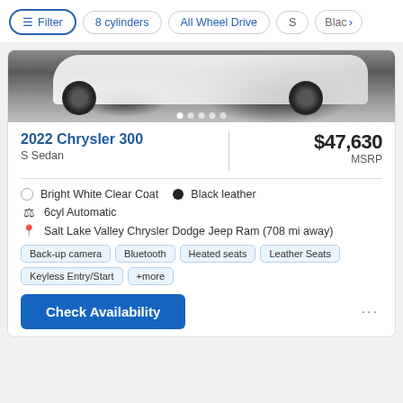Filter | 8 cylinders | All Wheel Drive | S | Black
[Figure (photo): Partial view of a white Chrysler 300 car showing the wheel and lower body against a dark background, with 5 dot navigation indicators at the bottom]
2022 Chrysler 300
S Sedan
$47,630 MSRP
Bright White Clear Coat   ● Black leather
6cyl Automatic
Salt Lake Valley Chrysler Dodge Jeep Ram (708 mi away)
Back-up camera  Bluetooth  Heated seats  Leather Seats  Keyless Entry/Start  +more
Check Availability